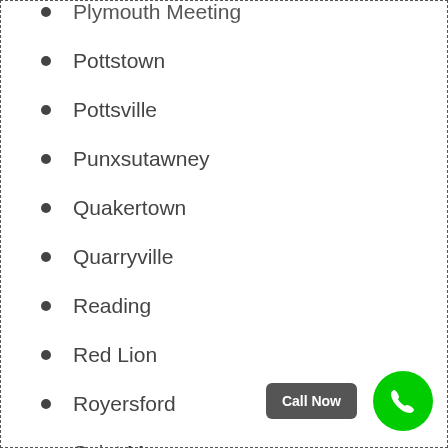Plymouth Meeting
Pottstown
Pottsville
Punxsutawney
Quakertown
Quarryville
Reading
Red Lion
Royersford
Saint Marys